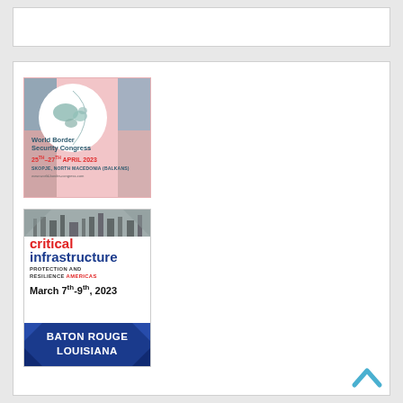[Figure (illustration): World Border Security Congress advertisement. Pink background with globe/world map circle graphic. Text: 'World Border Security Congress', '25th-27th APRIL 2023', 'SKOPJE, NORTH MACEDONIA (BALKANS)', website URL.]
[Figure (illustration): Critical Infrastructure Protection and Resilience Americas advertisement. White background with gray geometric header graphic. Red text 'critical', blue text 'infrastructure', dark text 'PROTECTION AND RESILIENCE', red text 'AMERICAS', black text 'March 7th-9th, 2023', blue block with white text 'BATON ROUGE LOUISIANA'.]